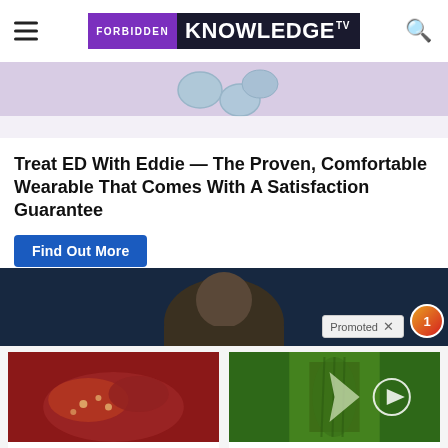FORBIDDEN KNOWLEDGE TV
[Figure (photo): Top portion of advertisement image showing blue pills/capsules on light background]
Treat ED With Eddie — The Proven, Comfortable Wearable That Comes With A Satisfaction Guarantee
Find Out More
[Figure (photo): Dark promotional video strip showing a person's face, with a 'Promoted' badge and X close button visible]
[Figure (photo): Organ/anatomy illustration thumbnail - red organic tissue, used for Metformin article]
[Figure (photo): Green plant/vegetable close-up with play button overlay, used for blood sugar article]
Stop Using Metformin. Here's Why
Watch The Video
One Bite of This Keeps Blood Sugar Below 100 (Try Tonight)
Watch The Video